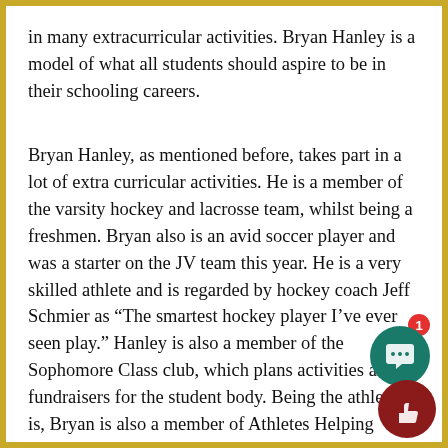in many extracurricular activities. Bryan Hanley is a model of what all students should aspire to be in their schooling careers.
Bryan Hanley, as mentioned before, takes part in a lot of extra curricular activities. He is a member of the varsity hockey and lacrosse team, whilst being a freshmen. Bryan also is an avid soccer player and was a starter on the JV team this year. He is a very skilled athlete and is regarded by hockey coach Jeff Schmier as “The smartest hockey player I’ve ever seen play.” Hanley is also a member of the Sophomore Class club, which plans activities and fundraisers for the student body. Being the athlete he is, Bryan is also a member of Athletes Helping Athletes. That a club that helps future Bethpage High School athletes make good decisions in life and provide advice on how to become a better player.